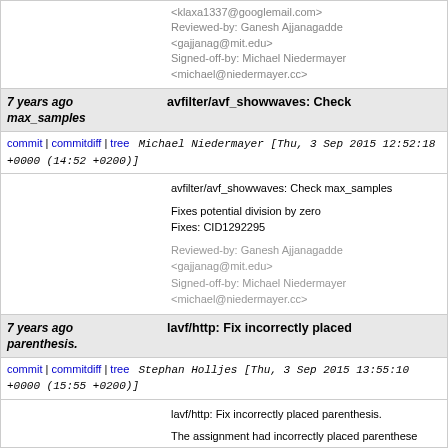<klaxa1337@googlemail.com>
Reviewed-by: Ganesh Ajjanagadde <gajjanag@mit.edu>
Signed-off-by: Michael Niedermayer <michael@niedermayer.cc>
7 years ago   avfilter/avf_showwaves: Check max_samples
commit | commitdiff | tree   Michael Niedermayer [Thu, 3 Sep 2015 12:52:18 +0000 (14:52 +0200)]
avfilter/avf_showwaves: Check max_samples

Fixes potential division by zero
Fixes: CID1292295

Reviewed-by: Ganesh Ajjanagadde <gajjanag@mit.edu>
Signed-off-by: Michael Niedermayer <michael@niedermayer.cc>
7 years ago   lavf/http: Fix incorrectly placed parenthesis.
commit | commitdiff | tree   Stephan Holljes [Thu, 3 Sep 2015 13:55:10 +0000 (15:55 +0200)]
lavf/http: Fix incorrectly placed parenthesis.

The assignment had incorrectly placed parenthese